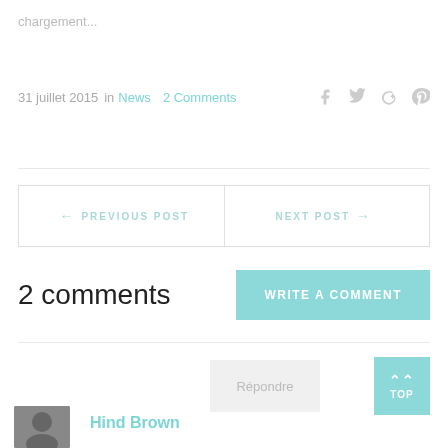chargement...
31 juillet 2015  in  News  2 Comments
← PREVIOUS POST
NEXT POST →
2 comments
WRITE A COMMENT
Répondre
TOP
Hind Brown